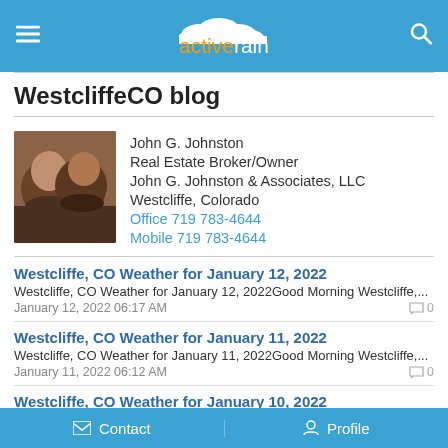activerain
WestcliffeCO blog
John G. Johnston
Real Estate Broker/Owner
John G. Johnston & Associates, LLC
Westcliffe, Colorado
Office 719 783-4644
Mobile 719 783-4644
Westcliffe, CO Weather for January 12, 2022
Westcliffe, CO Weather for January 12, 2022Good Morning Westcliffe,...
January 12, 2022 06:17 AM
Westcliffe, CO Weather for January 11, 2022
Westcliffe, CO Weather for January 11, 2022Good Morning Westcliffe,...
January 11, 2022 06:12 AM
Westcliffe, CO Weather for January 10, 2022
Westcliffe, CO Weather for January 10, 2022Good Morning Westcliffe,...
Contact   Profile